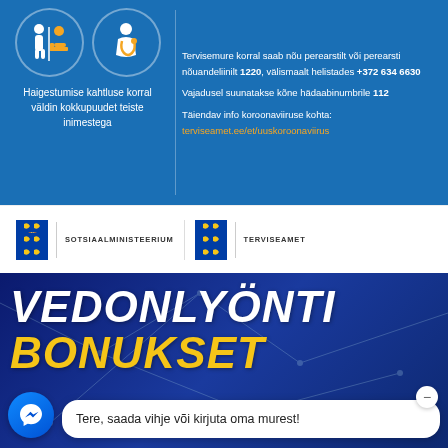[Figure (infographic): Estonian government health infographic with blue background. Left column shows two circular icons (people/doctor) and text about avoiding contact when sick. Right column shows health contact information including phone number 1220, +372 634 6630, emergency number 112, and website link.]
Haigestumise kahtluse korral väldin kokkupuudet teiste inimestega
Tervisemure korral saab nõu perearstilt või perearsti nõuandeliinilt 1220, välismaalt helistades +372 634 6630
Vajadusel suunatakse kõne hädaabinumbrile 112
Täiendav info koroonaviiruse kohta: terviseamet.ee/et/uuskoroonaviirus
[Figure (logo): Estonian Sotsiaalministeerium (Social Ministry) and Terviseamet (Health Board) logos with Estonian coat of arms]
[Figure (infographic): Dark blue background with network pattern. Large bold white text VEDONLYÖNTI and yellow text BONUKSET]
VEDONLYÖNTI
BONUKSET
Tere, saada vihje või kirjuta oma murest!